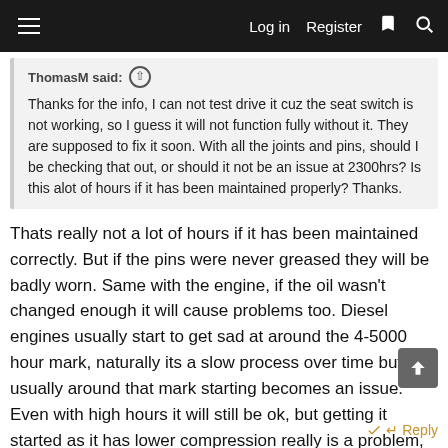Log in  Register
ThomasM said:
Thanks for the info, I can not test drive it cuz the seat switch is not working, so I guess it will not function fully without it. They are supposed to fix it soon. With all the joints and pins, should I be checking that out, or should it not be an issue at 2300hrs? Is this alot of hours if it has been maintained properly? Thanks.
Thats really not a lot of hours if it has been maintained correctly. But if the pins were never greased they will be badly worn. Same with the engine, if the oil wasn't changed enough it will cause problems too. Diesel engines usually start to get sad at around the 4-5000 hour mark, naturally its a slow process over time but usually around that mark starting becomes an issue. Even with high hours it will still be ok, but getting it started as it has lower compression really is a problem, especially in winter! Wait till you can drive it and see what the pin wear is like, its the only real way to do it.